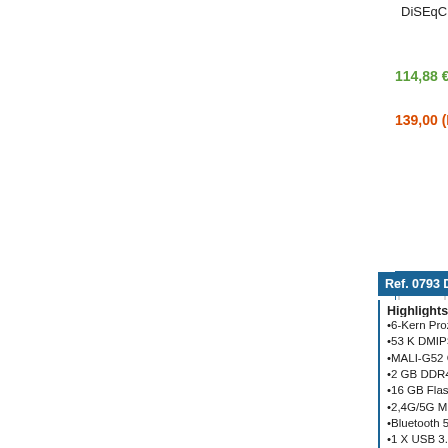DiSEqC 1.0, 1.1, 1.2, USALS
114,88 € (IVA No Incluido)
139,00 (IVA Incluido)
[Figure (screenshot): Add to cart controls: quantity input field with value 1, shopping cart button (gold), wishlist button (blue circle with R), compare button (blue circle with plus), info/details button]
Ref. 0793 Dreambox One Ul
Highlights del One Ultra HD:
6-Kern Prozessor
53 K DMIPS
MALI-G52 GPU
2 GB DDR4 RAM
16 GB Flash
2,4G/5G MIMO WLAN
Bluetooth 5.0
1 X USB 3.0, 1 x USB 2.0
HDMI 2.0
Gigabit LAN
4K UHD
MPEG2
Videoausgabe bis zu 2160p
HEVC H.256 & H.264
Smartcard reader
SD-Card reader
S/PDIF
Webinterface
electronicasuiza.com es Distr
197,52 € (IVA No Incluido)
239,00 (IVA Incluido)